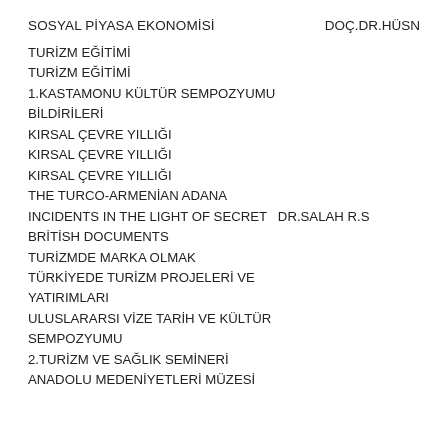SOSYAL PİYASA EKONOMİSİ    DOÇ.DR.HÜSN
TURİZM EĞİTİMİ
TURİZM EĞİTİMİ
1.KASTAMONU KÜLTÜR SEMPOZYUMU BİLDİRİLERİ
KIRSAL ÇEVRE YILLIĞI
KIRSAL ÇEVRE YILLIĞI
KIRSAL ÇEVRE YILLIĞI
THE TURCO-ARMENİAN ADANA INCIDENTS IN THE LIGHT OF SECRET BRITISH DOCUMENTS   DR.SALAH R.S
TURİZMDE MARKA OLMAK
TÜRKİYEDE TURİZM PROJELERİ VE YATIRIMLARI
ULUSLARARSI VİZE TARİH VE KÜLTÜR SEMPOZYUMU
2.TURİZM VE SAĞLIK SEMİNERİ
ANADOLU MEDENİYETLERİ MÜZESİ